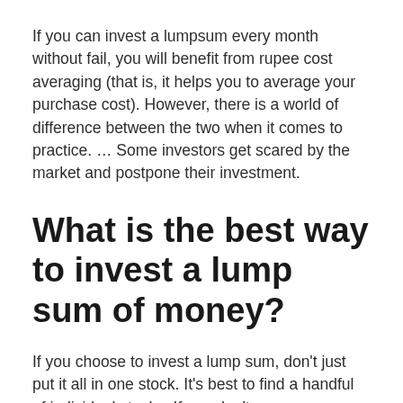If you can invest a lumpsum every month without fail, you will benefit from rupee cost averaging (that is, it helps you to average your purchase cost). However, there is a world of difference between the two when it comes to practice. ... Some investors get scared by the market and postpone their investment.
What is the best way to invest a lump sum of money?
If you choose to invest a lump sum, don't just put it all in one stock. It's best to find a handful of individual stocks. If you don't